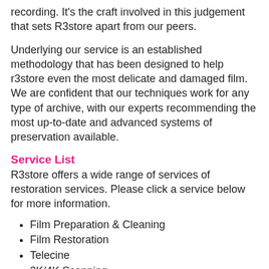recording. It's the craft involved in this judgement that sets R3store apart from our peers.
Underlying our service is an established methodology that has been designed to help r3store even the most delicate and damaged film. We are confident that our techniques work for any type of archive, with our experts recommending the most up-to-date and advanced systems of preservation available.
Service List
R3store offers a wide range of services of restoration services. Please click a service below for more information.
Film Preparation & Cleaning
Film Restoration
Telecine
2K/4K Scanning
Grading
Film Transfer
Tape Duplicating
Transcoding & Encoding
Film & Tape Quality Control